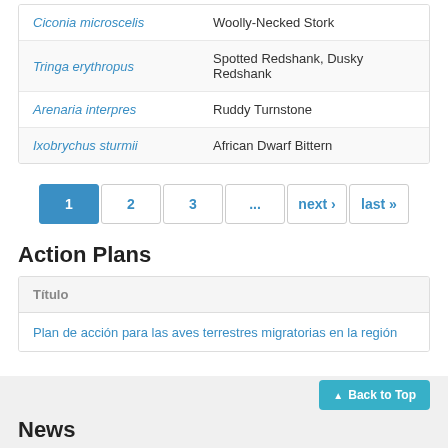| Scientific Name | Common Name |
| --- | --- |
| Ciconia microscelis | Woolly-Necked Stork |
| Tringa erythropus | Spotted Redshank, Dusky Redshank |
| Arenaria interpres | Ruddy Turnstone |
| Ixobrychus sturmii | African Dwarf Bittern |
1 2 3 ... next › last »
Action Plans
| Título |
| --- |
| Plan de acción para las aves terrestres migratorias en la región |
▲ Back to Top
News